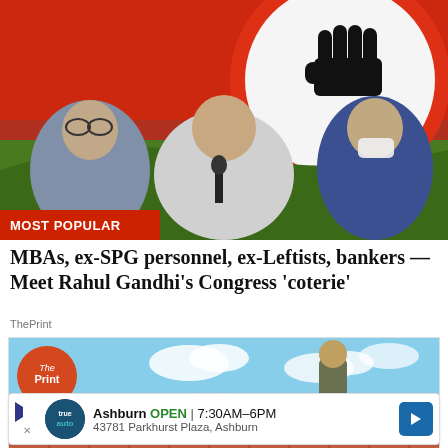[Figure (photo): Press conference photo showing three people seated at a table with the Indian National Congress logo (fist) backdrop. Left person in gray shirt with glasses, center person in white shirt speaking into microphone, right person in blue shirt wearing white face mask. 'MOST POPULAR' red label in bottom left corner.]
MBAs, ex-SPG personnel, ex-Leftists, bankers — Meet Rahul Gandhi's Congress 'coterie'
ThePrint
[Figure (photo): Photo showing a person standing on a rooftop with red/pink roof tiles against a blue sky with clouds. ThePrint logo (orange circle) in upper left. 'Advertising' watermark text visible.]
Ashburn OPEN 7:30AM–6PM 43781 Parkhurst Plaza, Ashburn